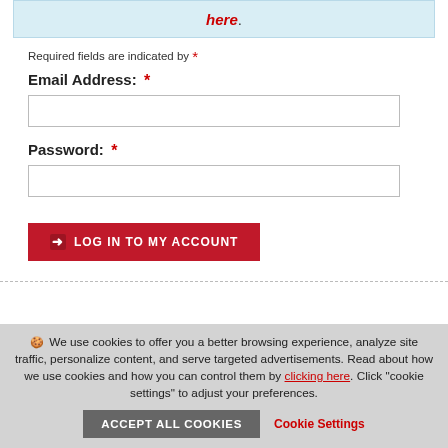[Figure (screenshot): Blue info banner with red bold italic link text 'here.']
Required fields are indicated by *
Email Address: *
[Figure (screenshot): Empty text input field for email address]
Password: *
[Figure (screenshot): Empty text input field for password]
[Figure (screenshot): Red button with arrow icon labeled LOG IN TO MY ACCOUNT]
We use cookies to offer you a better browsing experience, analyze site traffic, personalize content, and serve targeted advertisements. Read about how we use cookies and how you can control them by clicking here. Click "cookie settings" to adjust your preferences.
[Figure (screenshot): ACCEPT ALL COOKIES button and Cookie Settings link]